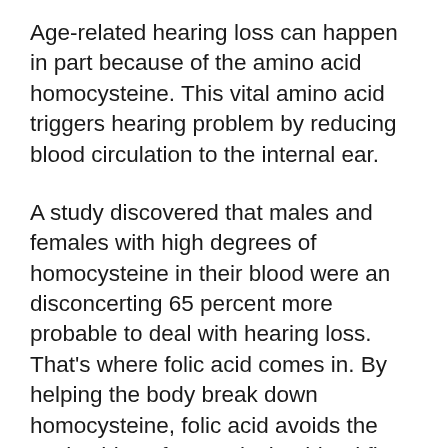Age-related hearing loss can happen in part because of the amino acid homocysteine. This vital amino acid triggers hearing problem by reducing blood circulation to the internal ear.
A study discovered that males and females with high degrees of homocysteine in their blood were an disconcerting 65 percent more probable to deal with hearing loss. That's where folic acid comes in. By helping the body break down homocysteine, folic acid avoids the pesky things from reducing blood flow to the ear.
In a 2010 research study, audiologists discovered that individuals with reduced degrees of folic acid were dramatically more